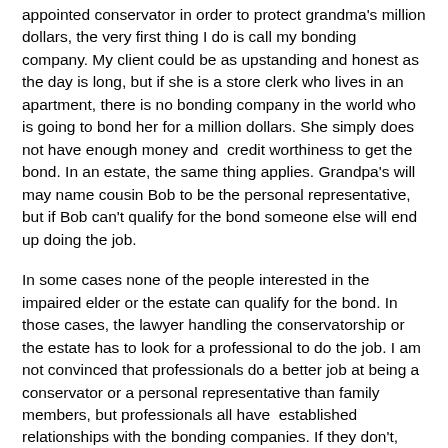appointed conservator in order to protect grandma's million dollars, the very first thing I do is call my bonding company. My client could be as upstanding and honest as the day is long, but if she is a store clerk who lives in an apartment, there is no bonding company in the world who is going to bond her for a million dollars. She simply does not have enough money and  credit worthiness to get the bond. In an estate, the same thing applies. Grandpa's will may name cousin Bob to be the personal representative, but if Bob can't qualify for the bond someone else will end up doing the job.
In some cases none of the people interested in the impaired elder or the estate can qualify for the bond. In those cases, the lawyer handling the conservatorship or the estate has to look for a professional to do the job. I am not convinced that professionals do a better job at being a conservator or a personal representative than family members, but professionals all have  established relationships with the bonding companies. If they don't, they are out of business.
Even when a family member does qualify for a bond, it is expensive. Depending upon the credit worthiness of the